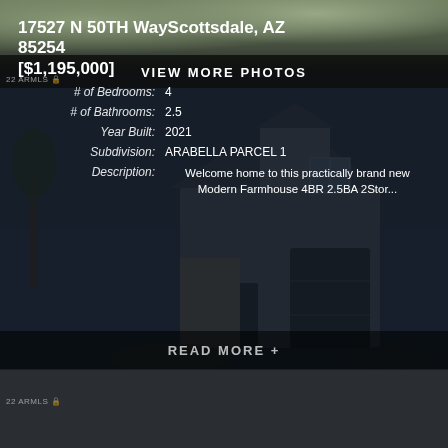[Figure (photo): Exterior photo of house with desert landscaping, top strip]
VIEW MORE PHOTOS
22 ARMLS
[Figure (photo): Exterior photo of modern farmhouse at night/dusk with dark blue sky]
17527 N 50TH WayScottsdale, AZ 85254
[$1,195,000]
# of Bedrooms: 4
# of Bathrooms: 2.5
Year Built: 2021
Subdivision: ARABELLA PARCEL 1
Description: Welcome home to this practically brand new Modern Farmhouse 4BR 2.5BA 2Stor...
22 ARMLS
READ MORE +
[Figure (photo): Interior photo showing ceiling fans, light and airy room]